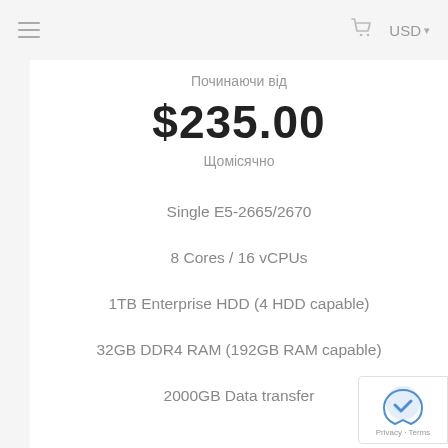≡   🛒  USD ▾
Починаючи від
$235.00
Щомісячно
Single E5-2665/2670
8 Cores / 16 vCPUs
1TB Enterprise HDD (4 HDD capable)
32GB DDR4 RAM (192GB RAM capable)
2000GB Data transfer